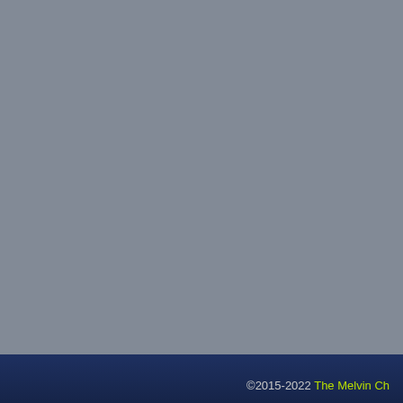[Figure (illustration): Partial view of an animated/comic-style illustration showing a character in purple outfit crouching or posing on a light-colored circular surface, with dark background. Only the right portion of the image is visible.]
Sorry folk, no page this week. I don't week to make up for that, but[...]
↓ Read the rest of this entry…
Tags: Filler, Green, Rose, Yellow
©2015-2022 The Melvin Ch